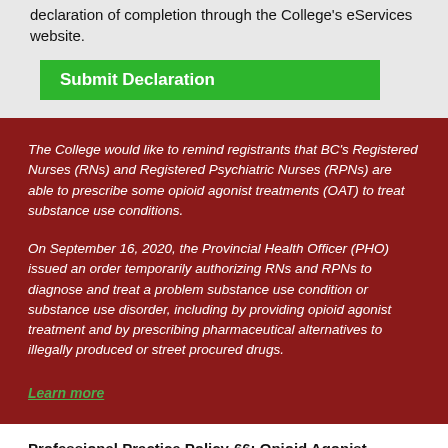declaration of completion through the College's eServices website.
Submit Declaration
The College would like to remind registrants that BC's Registered Nurses (RNs) and Registered Psychiatric Nurses (RPNs) are able to prescribe some opioid agonist treatments (OAT) to treat substance use conditions.
On September 16, 2020, the Provincial Health Officer (PHO) issued an order temporarily authorizing RNs and RPNs to diagnose and treat a problem substance use condition or substance use disorder, including by providing opioid agonist treatment and by prescribing pharmaceutical alternatives to illegally produced or street procured drugs.
Learn more
Professional Practice Policy-66: Opioid Agonist Treatment